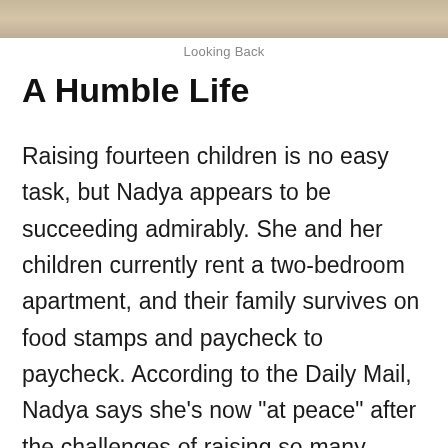[Figure (photo): Partial photo strip visible at top of page, showing a faded/sepia-toned image]
Looking Back
A Humble Life
Raising fourteen children is no easy task, but Nadya appears to be succeeding admirably. She and her children currently rent a two-bedroom apartment, and their family survives on food stamps and paycheck to paycheck. According to the Daily Mail, Nadya says she’s now “at peace” after the challenges of raising so many children on her own, in part because her story